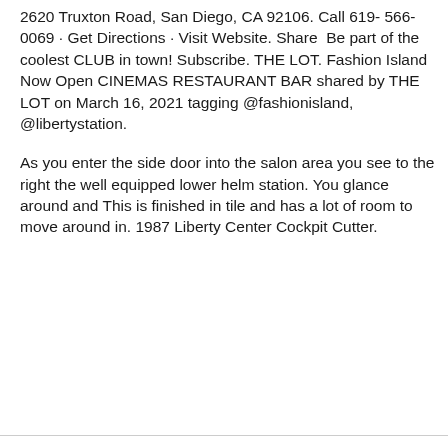2620 Truxton Road, San Diego, CA 92106. Call 619- 566-0069 · Get Directions · Visit Website. Share  Be part of the coolest CLUB in town! Subscribe. THE LOT. Fashion Island Now Open CINEMAS RESTAURANT BAR shared by THE LOT on March 16, 2021 tagging @fashionisland, @libertystation.
As you enter the side door into the salon area you see to the right the well equipped lower helm station. You glance around and This is finished in tile and has a lot of room to move around in. 1987 Liberty Center Cockpit Cutter.